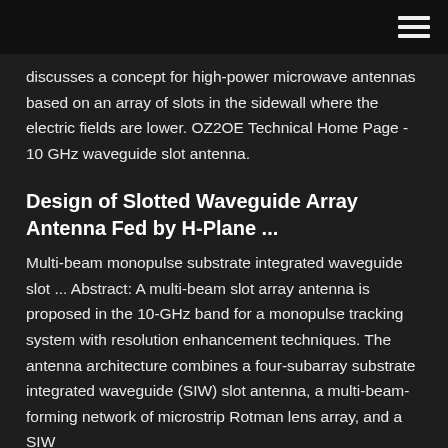discusses a concept for high-power microwave antennas based on an array of slots in the sidewall where the electric fields are lower. OZ2OE Technical Home Page - 10 GHz waveguide slot antenna.
Design of Slotted Waveguide Array Antenna Fed by H-Plane ...
Multi-beam monopulse substrate integrated waveguide slot ... Abstract: A multi-beam slot array antenna is proposed in the 10-GHz band for a monopulse tracking system with resolution enhancement techniques. The antenna architecture combines a four-subarray substrate integrated waveguide (SIW) slot antenna, a multi-beam-forming network of microstrip Rotman lens array, and a SIW